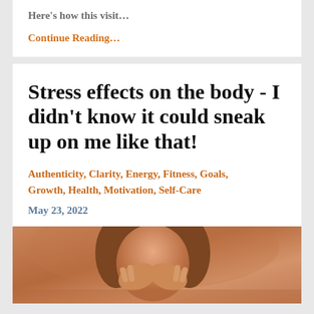Here’s how this visit…
Continue Reading…
Stress effects on the body - I didn’t know it could sneak up on me like that!
Authenticity, Clarity, Energy, Fitness, Goals, Growth, Health, Motivation, Self-Care
May 23, 2022
[Figure (photo): Woman with head in hands, appearing stressed, toned in sepia/orange tones]